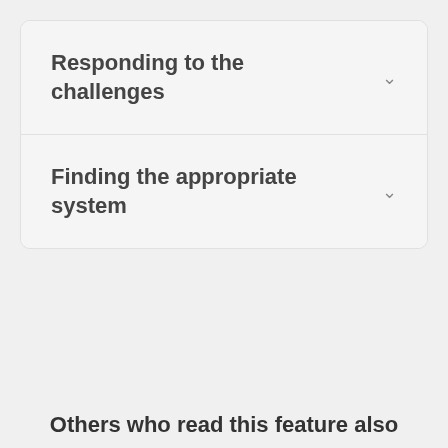Responding to the challenges
Finding the appropriate system
Others who read this feature also